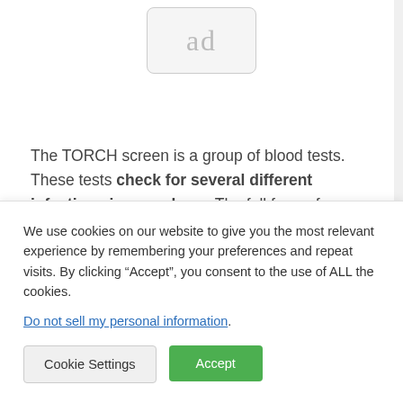[Figure (other): Advertisement placeholder box showing 'ad' text in a rounded rectangle]
The TORCH screen is a group of blood tests. These tests check for several different infections in a newborn. The full form of TORCH is toxoplasmosis, rubella cytomegalovirus, herpes simplex, and HIV. However it may also contain other newborn infections
We use cookies on our website to give you the most relevant experience by remembering your preferences and repeat visits. By clicking “Accept”, you consent to the use of ALL the cookies.
Do not sell my personal information.
Cookie Settings
Accept